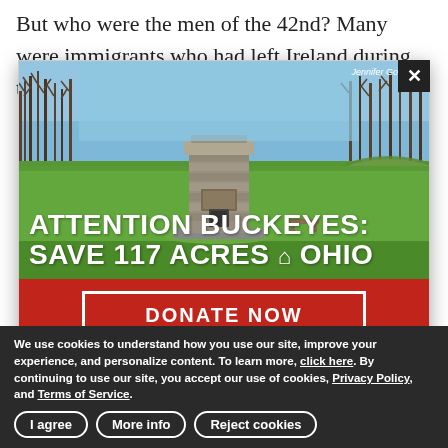But who were the men of the 42nd? Many were immigrants who had left Ireland during the potato famine. John Duffy
[Figure (photo): Outdoor park scene with a stone monument/tower structure on a grassy field, trees in background, blue sky. Overlay text reads 'Attention Buckeyes: Save 117 Acres in Ohio'. Photo credit: Jennifer Goellnitz.]
DONATE NOW
A historic 117-acre tract at Buffington Island is under threat by threat. Please make a gift today to preserve this piece of Ohio history forever.
We use cookies to understand how you use our site, improve your experience, and personalize content. To learn more, click here. By continuing to use our site, you accept our use of cookies, Privacy Policy, and Terms of Service.
I agree  More info  Reject cookies